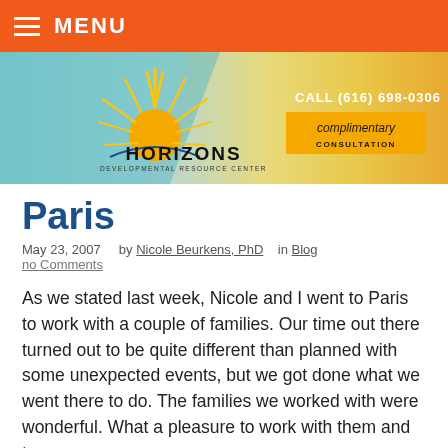MENU
[Figure (logo): Horizons Developmental Resource Center logo with sun graphic, orange/teal banner, phone number CALL (616) 698-0306, and complimentary consultation button]
Paris
May 23, 2007    by Nicole Beurkens, PhD    in Blog
no Comments
As we stated last week, Nicole and I went to Paris to work with a couple of families. Our time out there turned out to be quite different than planned with some unexpected events, but we got done what we went there to do. The families we worked with were wonderful. What a pleasure to work with them and to